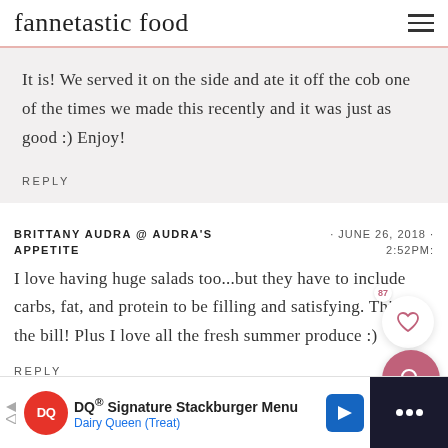fannetastic food
It is! We served it on the side and ate it off the cob one of the times we made this recently and it was just as good :) Enjoy!
REPLY
BRITTANY AUDRA @ AUDRA'S APPETITE
· JUNE 26, 2018 · 2:52PM:
I love having huge salads too...but they have to include carbs, fat, and protein to be filling and satisfying. This fits the bill! Plus I love all the fresh summer produce :)
REPLY
DQ® Signature Stackburger Menu Dairy Queen (Treat)